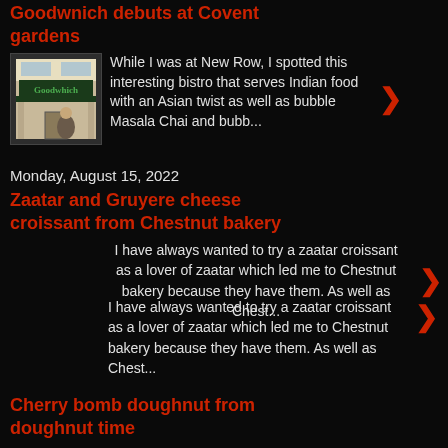Goodwnich debuts at Covent gardens
[Figure (photo): Photo of Goodwhich bistro storefront with green sign]
While I was at New Row, I spotted this interesting bistro that serves Indian food with an Asian twist as well as bubble Masala Chai and bubb...
Monday, August 15, 2022
Zaatar and Gruyere cheese croissant from Chestnut bakery
I have always wanted to try a zaatar croissant as a lover of zaatar which led me to Chestnut bakery because they have them. As well as Chest...
Cherry bomb doughnut from doughnut time
Doughnut time has all these wonderful OTT doughnuts that stop you when you go past but somehow I didn't really get the impulse to get on...